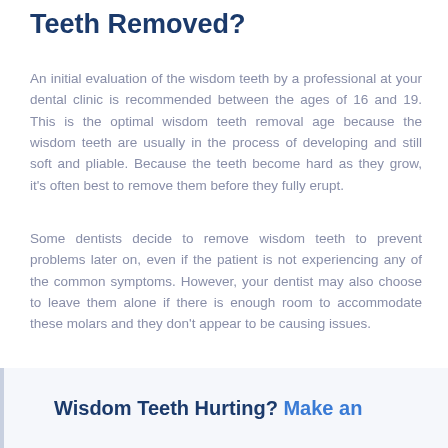Teeth Removed?
An initial evaluation of the wisdom teeth by a professional at your dental clinic is recommended between the ages of 16 and 19. This is the optimal wisdom teeth removal age because the wisdom teeth are usually in the process of developing and still soft and pliable. Because the teeth become hard as they grow, it’s often best to remove them before they fully erupt.
Some dentists decide to remove wisdom teeth to prevent problems later on, even if the patient is not experiencing any of the common symptoms. However, your dentist may also choose to leave them alone if there is enough room to accommodate these molars and they don’t appear to be causing issues.
Wisdom Teeth Hurting? Make an